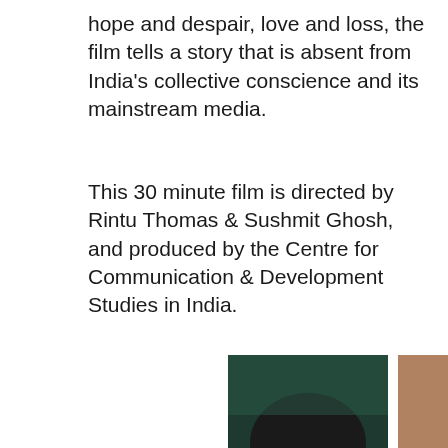hope and despair, love and loss, the film tells a story that is absent from India's collective conscience and its mainstream media.
This 30 minute film is directed by Rintu Thomas & Sushmit Ghosh, and produced by the Centre for Communication & Development Studies in India.
[Figure (photo): Two side-by-side photographs: left shows a smiling dark-skinned woman wearing a black head covering against a dark teal background; right shows children running and playing in a narrow urban alleyway.]